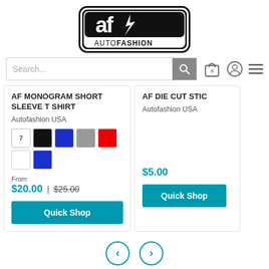[Figure (logo): Autofashion USA logo — stylized 'af' letters in black with 'AUTOFASHION' text below, inside a rounded rectangle border]
Search...
AF MONOGRAM SHORT SLEEVE T SHIRT
Autofashion USA
From
$20.00 | $25.00
Quick Shop
AF DIE CUT STIC
Autofashion USA
$5.00
Quick Shop